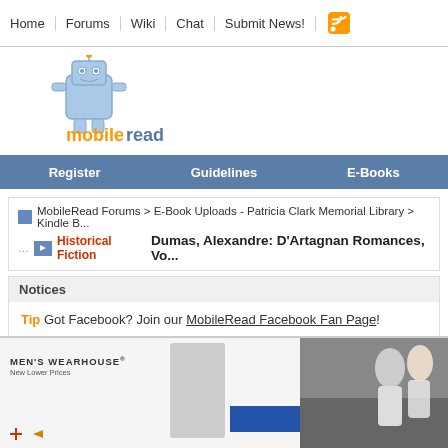Home | Forums | Wiki | Chat | Submit News!
[Figure (logo): MobileRead robot logo with 'mobileread' text in orange and blue]
Register | Guidelines | E-Books
MobileRead Forums > E-Book Uploads - Patricia Clark Memorial Library > Kindle ...
Historical Fiction  Dumas, Alexandre: D'Artagnan Romances, Vo...
Notices
Tip  Got Facebook? Join our MobileRead Facebook Fan Page!
[Figure (photo): Men's Wearhouse advertisement with a suited figure and a couple in formal wear]